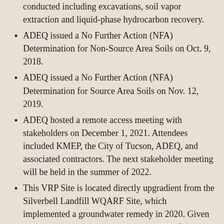conducted including excavations, soil vapor extraction and liquid-phase hydrocarbon recovery.
ADEQ issued a No Further Action (NFA) Determination for Non-Source Area Soils on Oct. 9, 2018.
ADEQ issued a No Further Action (NFA) Determination for Source Area Soils on Nov. 12, 2019.
ADEQ hosted a remote access meeting with stakeholders on December 1, 2021. Attendees included KMEP, the City of Tucson, ADEQ, and associated contractors. The next stakeholder meeting will be held in the summer of 2022.
This VRP Site is located directly upgradient from the Silverbell Landfill WQARF Site, which implemented a groundwater remedy in 2020. Given the proximity to the WQARF site, in lieu of completing a Feasibility Study at this time, the Volunteer for Silvercroft Wash continues to collect data through 2021 to determine